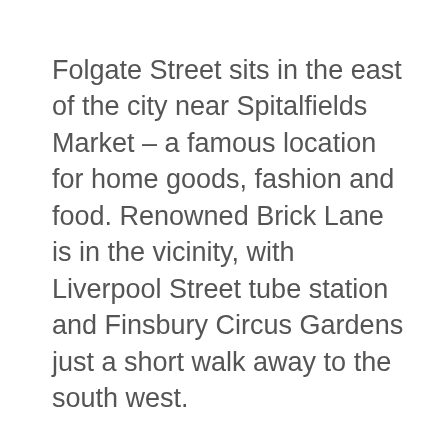Folgate Street sits in the east of the city near Spitalfields Market – a famous location for home goods, fashion and food. Renowned Brick Lane is in the vicinity, with Liverpool Street tube station and Finsbury Circus Gardens just a short walk away to the south west.
The venue has many features which will attract professionals, from excellently-designed, flexible work spaces to a large, atrium-styled events area. Perhaps Folgate Street's greatest assets are the sun-trapped Residents Garden and the conservatory, which houses a 140-inch video wall. You can also take advantage of the